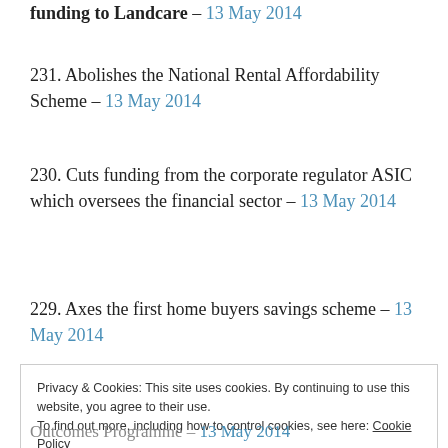funding to Landcare – 13 May 2014
231. Abolishes the National Rental Affordability Scheme – 13 May 2014
230. Cuts funding from the corporate regulator ASIC which oversees the financial sector – 13 May 2014
229. Axes the first home buyers savings scheme – 13 May 2014
Privacy & Cookies: This site uses cookies. By continuing to use this website, you agree to their use.
To find out more, including how to control cookies, see here: Cookie Policy
Outcomes Programme – 13 May 2014